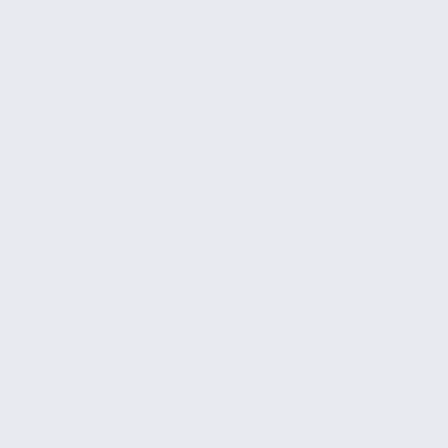[Figure (illustration): Left panel with light blue-gray background, blank/empty area representing a page margin or cover spread left side]
[Figure (photo): Right panel showing a book cover or poster with dark olive/green upper section with white text reading 'DO THEY EX' (truncated), and a lower section showing an aerial or overhead view of a complex industrial or architectural space with blue glowing orbs/lights scattered throughout]
DO THEY EX